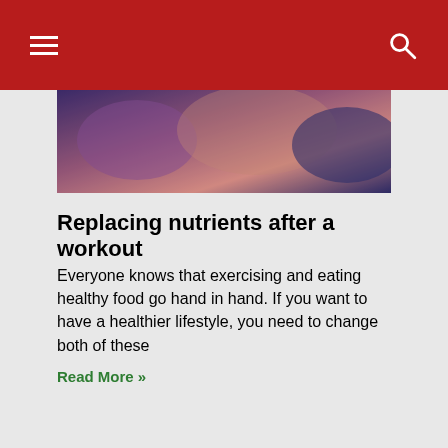[Figure (photo): Blurred photo of people in a gym or exercise/food setting, with purple and pink and dark blue tones.]
Replacing nutrients after a workout
Everyone knows that exercising and eating healthy food go hand in hand. If you want to have a healthier lifestyle, you need to change both of these
Read More »